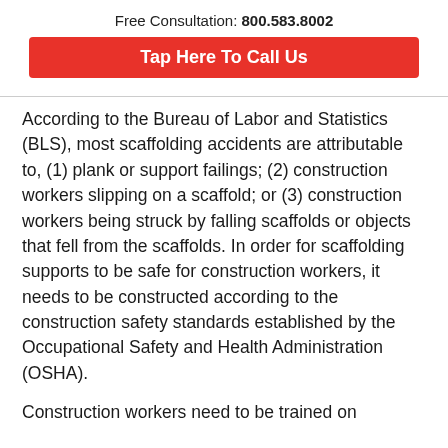Free Consultation: 800.583.8002
Tap Here To Call Us
According to the Bureau of Labor and Statistics (BLS), most scaffolding accidents are attributable to, (1) plank or support failings; (2) construction workers slipping on a scaffold; or (3) construction workers being struck by falling scaffolds or objects that fell from the scaffolds. In order for scaffolding supports to be safe for construction workers, it needs to be constructed according to the construction safety standards established by the Occupational Safety and Health Administration (OSHA).
Construction workers need to be trained on